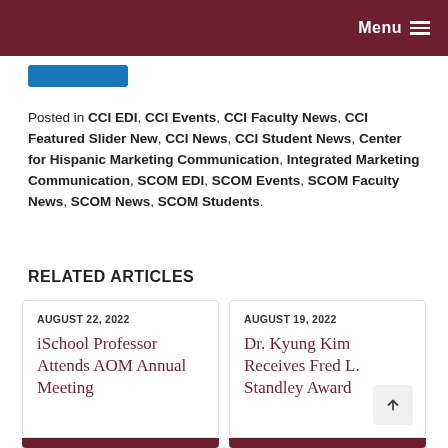Menu
Posted in CCI EDI, CCI Events, CCI Faculty News, CCI Featured Slider New, CCI News, CCI Student News, Center for Hispanic Marketing Communication, Integrated Marketing Communication, SCOM EDI, SCOM Events, SCOM Faculty News, SCOM News, SCOM Students.
RELATED ARTICLES
AUGUST 22, 2022
iSchool Professor Attends AOM Annual Meeting
AUGUST 19, 2022
Dr. Kyung Kim Receives Fred L. Standley Award